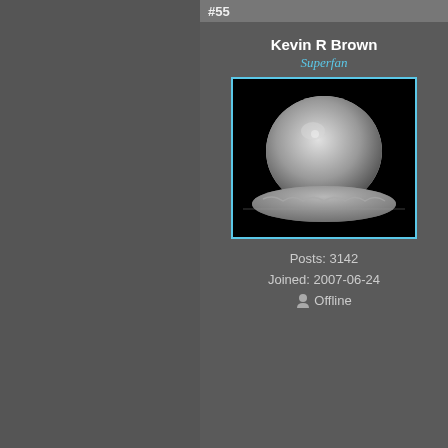#55
Kevin R Brown
Superfan
[Figure (photo): Black and white photo of an atomic bomb mushroom cloud dome shape against black background]
Posts: 3142
Joined: 2007-06-24
Offline
Quote:"
Quote:
No. All th... our know... not an as... God is th...
Now, for... to me. P... stated in... conveye...